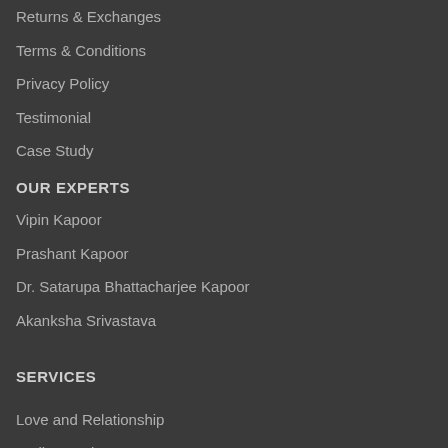Returns & Exchanges
Terms & Conditions
Privacy Policy
Testimonial
Case Study
OUR EXPERTS
Vipin Kapoor
Prashant Kapoor
Dr. Satarupa Bhattacharjee Kapoor
Akanksha Srivastava
SERVICES
Love and Relationship
Vedic Astrology